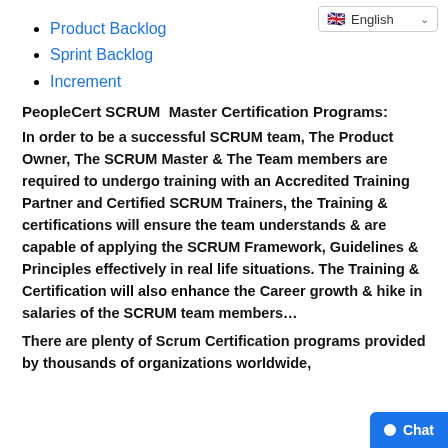Product Backlog
Sprint Backlog
Increment
PeopleCert SCRUM  Master Certification Programs:
In order to be a successful SCRUM team, The Product Owner, The SCRUM Master & The Team members are required to undergo training with an Accredited Training Partner and Certified SCRUM Trainers, the Training & certifications will ensure the team understands & are capable of applying the SCRUM Framework, Guidelines & Principles effectively in real life situations. The Training & Certification will also enhance the Career growth & hike in salaries of the SCRUM team members…
There are plenty of Scrum Certification programs provided by thousands of organizations worldwide,